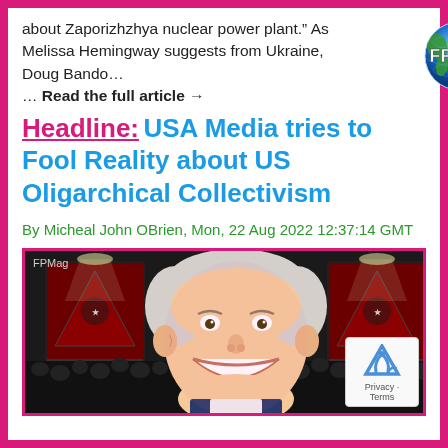about Zaporizhzhya nuclear power plant.” As Melissa Hemingway suggests from Ukraine, Doug Bando… Read the full article →
[Figure (logo): FPMag globe logo with blue/green globe and white FPMag text]
Headline: USA Media tries to Fool Reality about US Oligarchical Collectivism
By Micheal John OBrien, Mon, 22 Aug 2022 12:37:14 GMT
[Figure (photo): Photomontage image showing a man's smiling face superimposed in front of a crowd scene with INGSOC posters and spotlights on both sides, resembling a 1984-style propaganda scene. FPMag watermark in top left.]